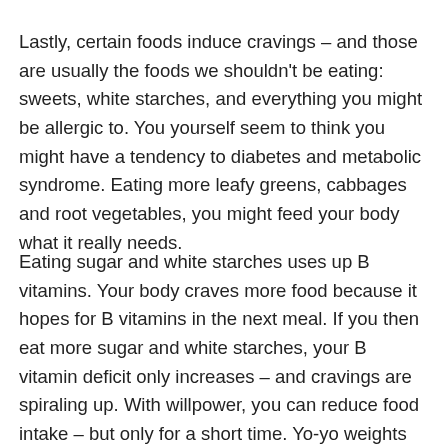Lastly, certain foods induce cravings – and those are usually the foods we shouldn't be eating: sweets, white starches, and everything you might be allergic to. You yourself seem to think you might have a tendency to diabetes and metabolic syndrome. Eating more leafy greens, cabbages and root vegetables, you might feed your body what it really needs.
Eating sugar and white starches uses up B vitamins. Your body craves more food because it hopes for B vitamins in the next meal. If you then eat more sugar and white starches, your B vitamin deficit only increases – and cravings are spiraling up. With willpower, you can reduce food intake – but only for a short time. Yo-yo weights